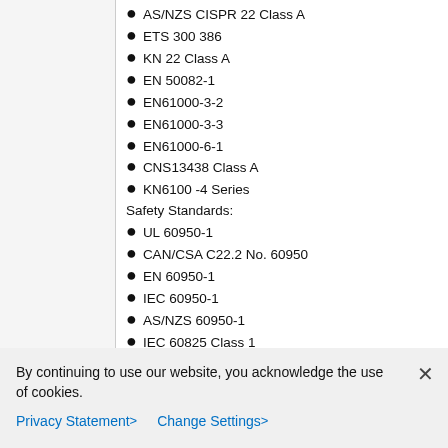AS/NZS CISPR 22 Class A
ETS 300 386
KN 22 Class A
EN 50082-1
EN61000-3-2
EN61000-3-3
EN61000-6-1
CNS13438 Class A
KN6100 -4 Series
Safety Standards:
UL 60950-1
CAN/CSA C22.2 No. 60950
EN 60950-1
IEC 60950-1
AS/NZS 60950-1
IEC 60825 Class 1
EN 60825 Class 1
21CFR 1040 (truncated)
By continuing to use our website, you acknowledge the use of cookies.
Privacy Statement >
Change Settings >